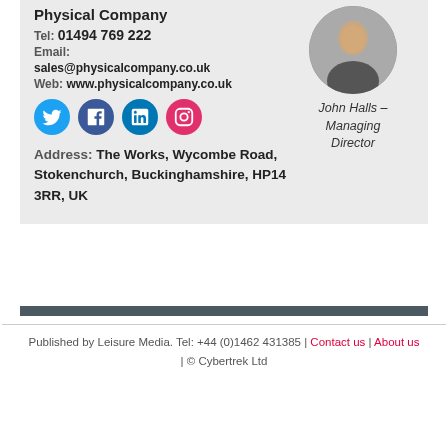Physical Company
Tel: 01494 769 222
Email: sales@physicalcompany.co.uk
Web: www.physicalcompany.co.uk
[Figure (illustration): Social media icons: Twitter, Facebook, LinkedIn, Instagram]
Address: The Works, Wycombe Road, Stokenchurch, Buckinghamshire, HP14 3RR, UK
[Figure (photo): Circular headshot of John Halls – Managing Director]
John Halls – Managing Director
Published by Leisure Media. Tel: +44 (0)1462 431385 | Contact us | About us | © Cybertrek Ltd